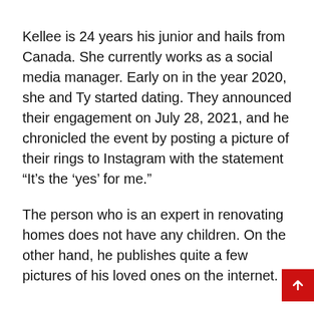Kellee is 24 years his junior and hails from Canada. She currently works as a social media manager. Early on in the year 2020, she and Ty started dating. They announced their engagement on July 28, 2021, and he chronicled the event by posting a picture of their rings to Instagram with the statement “It’s the ‘yes’ for me.”
The person who is an expert in renovating homes does not have any children. On the other hand, he publishes quite a few pictures of his loved ones on the internet.